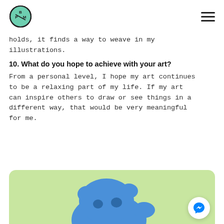BPM logo and navigation
holds, it finds a way to weave in my illustrations.
10. What do you hope to achieve with your art?
From a personal level, I hope my art continues to be a relaxing part of my life. If my art can inspire others to draw or see things in a different way, that would be very meaningful for me.
[Figure (illustration): Light green rounded rectangle panel showing a blue cartoon character/creature illustration at bottom of page, with a white circular Facebook Messenger button in the bottom right corner.]